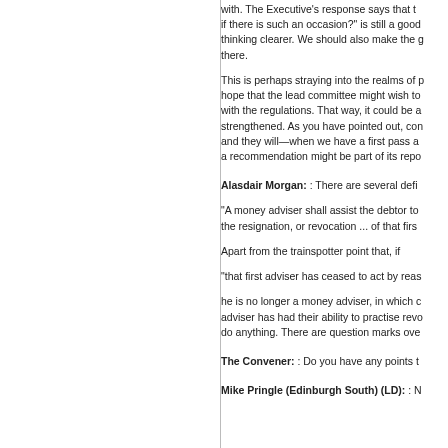with. The Executive's response says that if there is such an occasion?" is still a good thinking clearer. We should also make the g there.
This is perhaps straying into the realms of p hope that the lead committee might wish to with the regulations. That way, it could be a strengthened. As you have pointed out, con and they will—when we have a first pass a a recommendation might be part of its repo
Alasdair Morgan: : There are several defi
"A money adviser shall assist the debtor to the resignation, or revocation ... of that firs
Apart from the trainspotter point that, if
"that first adviser has ceased to act by reas
he is no longer a money adviser, in which c adviser has had their ability to practise revo do anything. There are question marks ove
The Convener: : Do you have any points t
Mike Pringle (Edinburgh South) (LD): : N